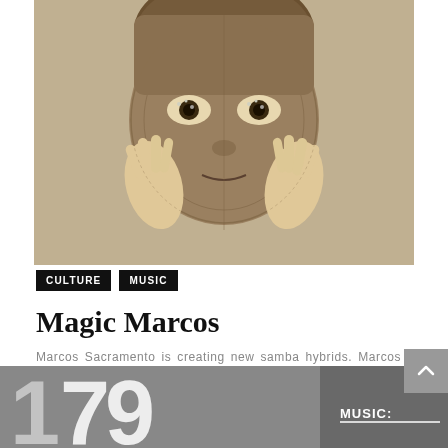[Figure (photo): Black and white sepia-toned photograph of a person wearing a crocheted/knitted face mask, holding their face with both hands]
CULTURE
MUSIC
Magic Marcos
Marcos Sacramento is creating new samba hybrids. Marcos Sacramento is breathing new life into ...
DANIELLA THOMPSON · FEBRUARY 1, 1999
[Figure (photo): Black and white image at the bottom showing large numbers/typography with text 'MUSIC:' visible]